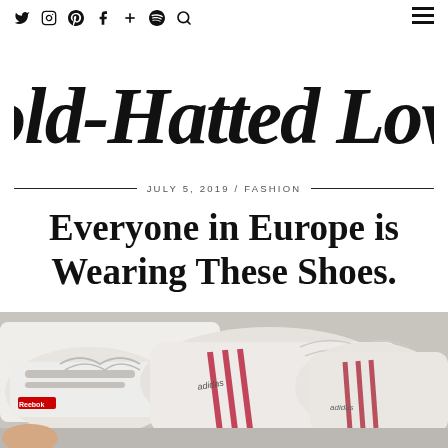Social icons: Twitter, Instagram, Pinterest, Facebook, Plus, Spotify, Search | Hamburger menu
[Figure (logo): Gold-Hatted Lover blog logo in brush script calligraphy style]
JULY 5, 2019 / FASHION
Everyone in Europe is Wearing These Shoes.
[Figure (photo): Multiple white leather sneakers including Adidas and Reebok brands piled together on a light gray background]